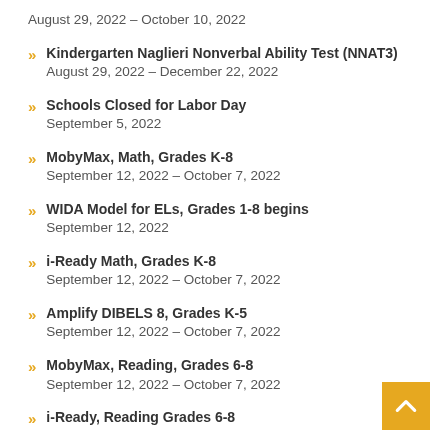August 29, 2022 – October 10, 2022
Kindergarten Naglieri Nonverbal Ability Test (NNAT3)
August 29, 2022 – December 22, 2022
Schools Closed for Labor Day
September 5, 2022
MobyMax, Math, Grades K-8
September 12, 2022 – October 7, 2022
WIDA Model for ELs, Grades 1-8 begins
September 12, 2022
i-Ready Math, Grades K-8
September 12, 2022 – October 7, 2022
Amplify DIBELS 8, Grades K-5
September 12, 2022 – October 7, 2022
MobyMax, Reading, Grades 6-8
September 12, 2022 – October 7, 2022
i-Ready, Reading Grades 6-8